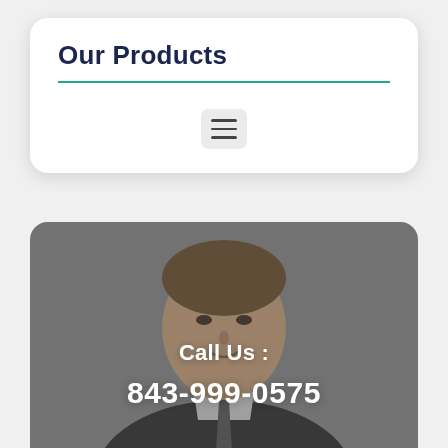Our Products
[Figure (photo): Portrait photo of a young man in a dark suit with a tie, gray background, overlaid with 'Call Us : 843-999-0575' text]
Call Us :
843-999-0575